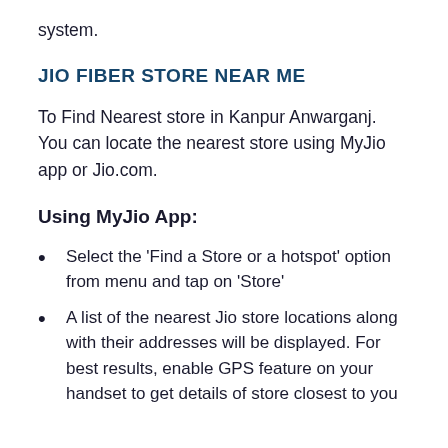system.
JIO FIBER STORE NEAR ME
To Find Nearest store in Kanpur Anwarganj. You can locate the nearest store using MyJio app or Jio.com.
Using MyJio App:
Select the 'Find a Store or a hotspot' option from menu and tap on 'Store'
A list of the nearest Jio store locations along with their addresses will be displayed. For best results, enable GPS feature on your handset to get details of store closest to you